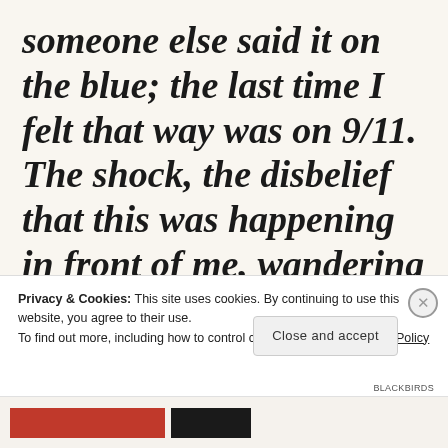someone else said it on the blue; the last time I felt that way was on 9/11. The shock, the disbelief that this was happening in front of me, wandering around in a daze all day. I don't know what
Privacy & Cookies: This site uses cookies. By continuing to use this website, you agree to their use. To find out more, including how to control cookies, see here: Cookie Policy
Close and accept